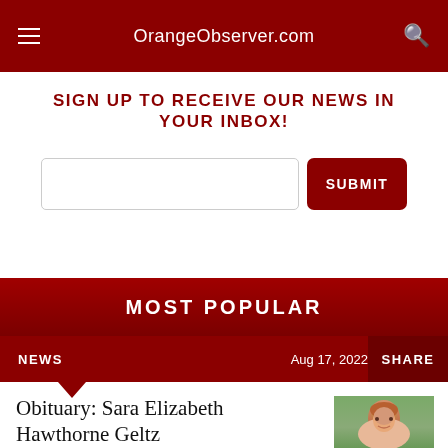OrangeObserver.com
SIGN UP TO RECEIVE OUR NEWS IN YOUR INBOX!
[Figure (screenshot): Email input field and Submit button for newsletter signup]
MOST POPULAR
NEWS   Aug 17, 2022   SHARE
Obituary: Sara Elizabeth Hawthorne Geltz
[Figure (photo): Portrait photo of Sara Elizabeth Hawthorne Geltz, a woman with reddish-blonde hair smiling outdoors]